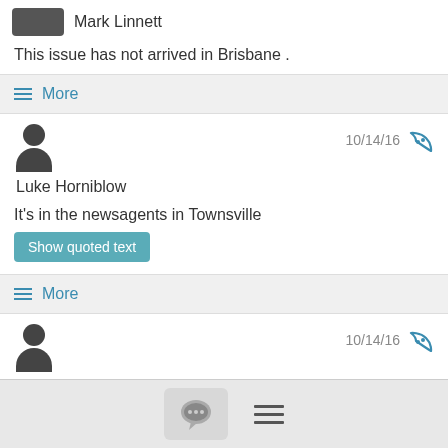Mark Linnett
This issue has not arrived in Brisbane .
≡ More
Luke Horniblow  10/14/16
It's in the newsagents in Townsville
Show quoted text
≡ More
Philip Rubie  10/14/16
Still haven't got mine in a Sydney suburb in the mail delivery of Friday